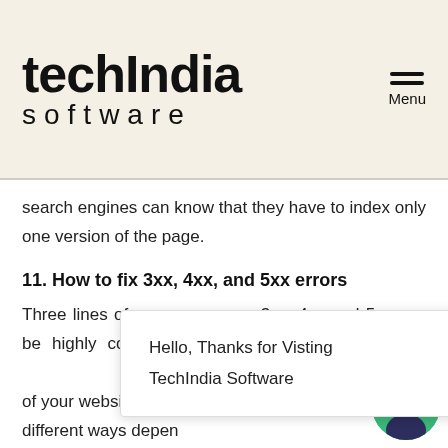techIndia software  Menu
search engines can know that they have to index only one version of the page.
11. How to fix 3xx, 4xx, and 5xx errors
Three lines of error messages 3xx, 4xx and 5xx can be highly concerning as they potentially hurt the health of your website. Google treats these errors in different ways depending on how your site gets crawled and indexed. Therefore, attend to these error messages on top priority.
Hello, Thanks for Visting TechIndia Software